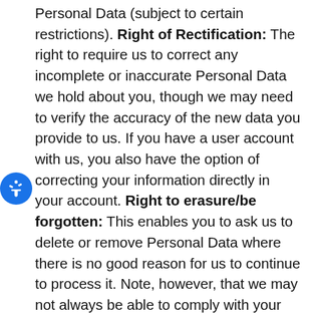Personal Data (subject to certain restrictions). Right of Rectification: The right to require us to correct any incomplete or inaccurate Personal Data we hold about you, though we may need to verify the accuracy of the new data you provide to us. If you have a user account with us, you also have the option of correcting your information directly in your account. Right to erasure/be forgotten: This enables you to ask us to delete or remove Personal Data where there is no good reason for us to continue to process it. Note, however, that we may not always be able to comply with your request for erasure and in such circumstances, will notify our reasons to you. Right to restrict processing: The right to require us to restrict processing of your Personal Data, i.e., you can request that we suspend the processing of your Personal Data